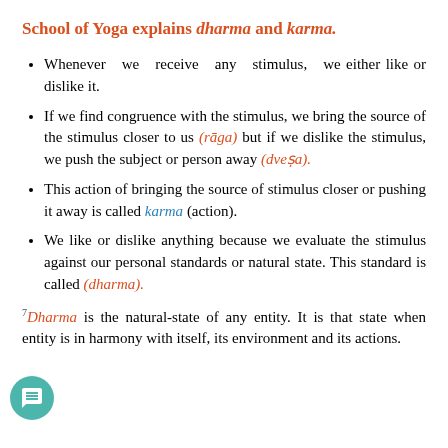School of Yoga explains dharma and karma.
Whenever we receive any stimulus, we either like or dislike it.
If we find congruence with the stimulus, we bring the source of the stimulus closer to us (rāga) but if we dislike the stimulus, we push the subject or person away (dveṣa).
This action of bringing the source of stimulus closer or pushing it away is called karma (action).
We like or dislike anything because we evaluate the stimulus against our personal standards or natural state. This standard is called (dharma).
Dharma is the natural-state of any entity. It is that state when entity is in harmony with itself, its environment and its actions.